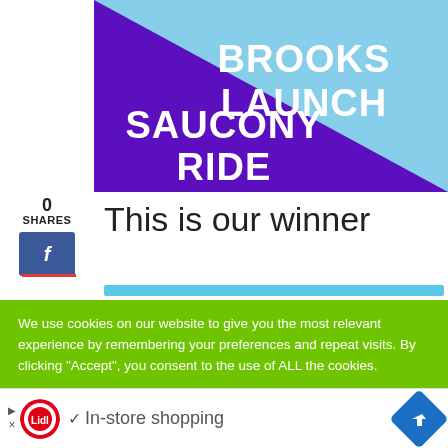[Figure (illustration): Graphic comparing two running shoes: 'Brooks Launch' text on light blue background and 'Saucony Ride' text on purple background, with a diagonal split between the two.]
0
SHARES
This is our winner
We use cookies on our website to give you the most relevant experience by remembering your preferences and repeat visits. By clicking “Accept”, you consent to the use of ALL the cookies.
Do not sell my personal information.
[Figure (advertisement): Lidl advertisement bar at bottom showing Lidl logo with checkmark and 'In-store shopping' text and a blue navigation arrow icon.]